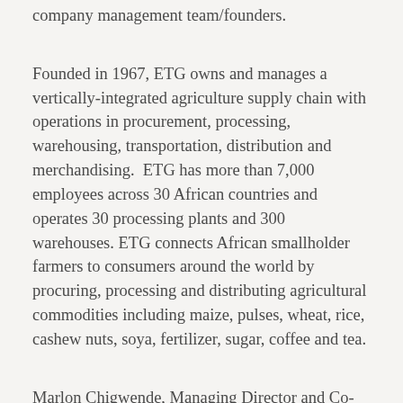company management team/founders.
Founded in 1967, ETG owns and manages a vertically-integrated agriculture supply chain with operations in procurement, processing, warehousing, transportation, distribution and merchandising.  ETG has more than 7,000 employees across 30 African countries and operates 30 processing plants and 300 warehouses. ETG connects African smallholder farmers to consumers around the world by procuring, processing and distributing agricultural commodities including maize, pulses, wheat, rice, cashew nuts, soya, fertilizer, sugar, coffee and tea.
Marlon Chigwende, Managing Director and Co-Head of the Goldman Sachs Africa Equity Special Situations business,